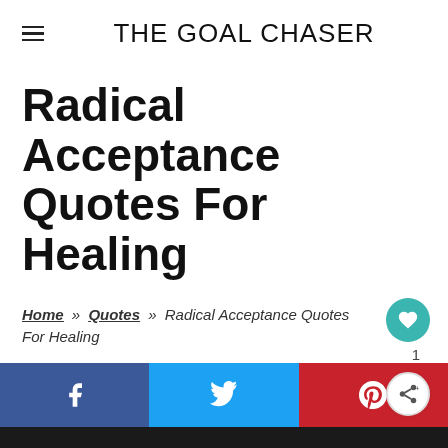THE GOAL CHASER
Radical Acceptance Quotes For Healing
Home » Quotes » Radical Acceptance Quotes For Healing